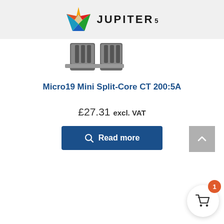JUPITER 5
[Figure (photo): Partial product images of Micro19 Mini Split-Core CT shown from above, two units visible at top of page]
Micro19 Mini Split-Core CT 200:5A
£27.31 excl. VAT
Read more
[Figure (other): Scroll to top button (upward arrow on grey background)]
[Figure (other): Shopping cart button with badge showing quantity 1]